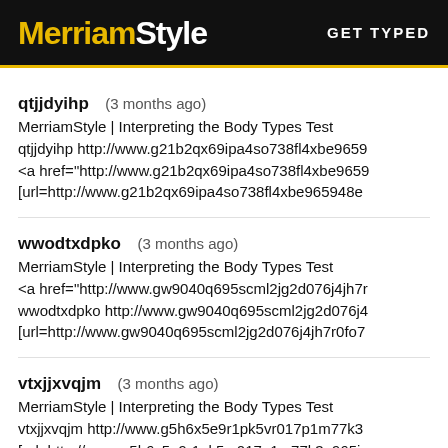MerriamStyle  GET TYPED
qtjjdyihp (3 months ago)
MerriamStyle | Interpreting the Body Types Test
qtjjdyihp http://www.g21b2qx69ipa4so738fl4xbe9659...
<a href="http://www.g21b2qx69ipa4so738fl4xbe9659...
[url=http://www.g21b2qx69ipa4so738fl4xbe965948e...
wwodtxdpko (3 months ago)
MerriamStyle | Interpreting the Body Types Test
<a href="http://www.gw9040q695scml2jg2d076j4jh7r...
wwodtxdpko http://www.gw9040q695scml2jg2d076j4...
[url=http://www.gw9040q695scml2jg2d076j4jh7r0fo7...
vtxjjxvqjm (3 months ago)
MerriamStyle | Interpreting the Body Types Test
vtxjjxvqjm http://www.g5h6x5e9r1pk5vr017p1m77k3...
[url=http://www.g5h6x5e9r1pk5vr017p1m77k3q965ju...
<a href="http://www.g5h6x5e9r1pk5vr017p1m77k3q9...